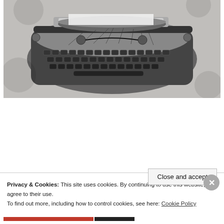[Figure (illustration): Black and white stipple/engraving-style illustration of an old typewriter viewed from above at an angle, showing the keyboard and carriage mechanism.]
A universal fear as we age is that of becoming isolated and lonely. Retirement removes the daily interaction with the outside world we are accustomed to. Often, our children have moved far away and widowhood is a factor for many of us. Sometimes, it seems that the world is moving on and leaving us behind, with
Privacy & Cookies: This site uses cookies. By continuing to use this website, you agree to their use.
To find out more, including how to control cookies, see here: Cookie Policy
Close and accept